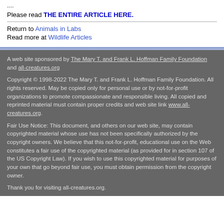....
Please read THE ENTIRE ARTICLE HERE.
Return to Animals in Labs
Read more at Wildlife Articles
A web site sponsored by The Mary T. and Frank L. Hoffman Family Foundation and all-creatures.org
Copyright © 1998-2022 The Mary T. and Frank L. Hoffman Family Foundation. All rights reserved. May be copied only for personal use or by not-for-profit organizations to promote compassionate and responsible living. All copied and reprinted material must contain proper credits and web site link www.all-creatures.org.
Fair Use Notice: This document, and others on our web site, may contain copyrighted material whose use has not been specifically authorized by the copyright owners. We believe that this not-for-profit, educational use on the Web constitutes a fair use of the copyrighted material (as provided for in section 107 of the US Copyright Law). If you wish to use this copyrighted material for purposes of your own that go beyond fair use, you must obtain permission from the copyright owner.
Thank you for visiting all-creatures.org.